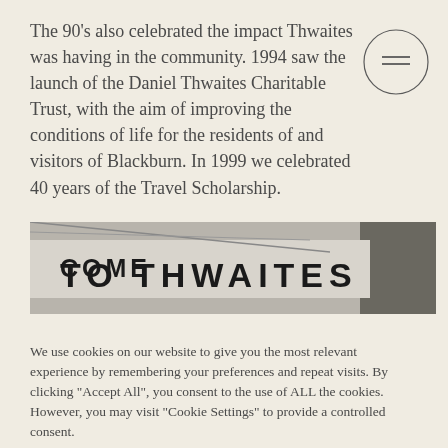The 90's also celebrated the impact Thwaites was having in the community. 1994 saw the launch of the Daniel Thwaites Charitable Trust, with the aim of improving the conditions of life for the residents of and visitors of Blackburn. In 1999 we celebrated 40 years of the Travel Scholarship.
[Figure (photo): Black and white photo of a sign reading 'WELCOME TO THWAITES']
We use cookies on our website to give you the most relevant experience by remembering your preferences and repeat visits. By clicking "Accept All", you consent to the use of ALL the cookies. However, you may visit "Cookie Settings" to provide a controlled consent.